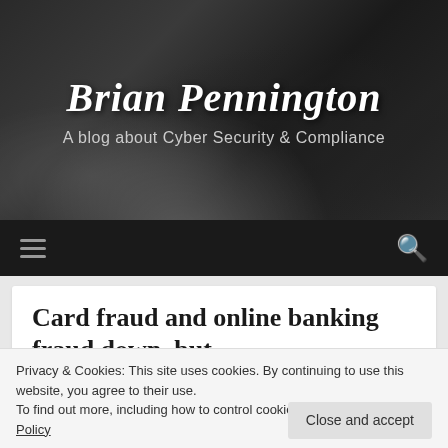[Figure (photo): Dark monochrome header image showing a winding road through trees, overlaid with blog title and subtitle text]
Brian Pennington
A blog about Cyber Security & Compliance
Navigation bar with hamburger menu icon and search icon
Card fraud and online banking fraud down, but
Privacy & Cookies: This site uses cookies. By continuing to use this website, you agree to their use.
To find out more, including how to control cookies, see here: Cookie Policy
Close and accept